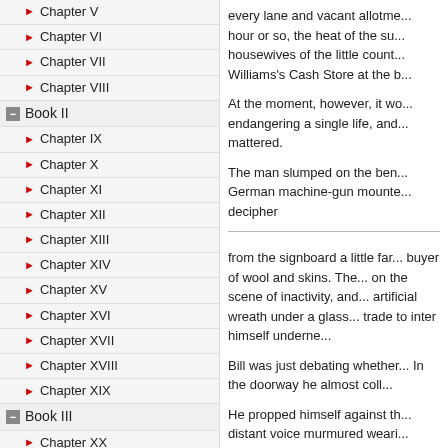Chapter V
Chapter VI
Chapter VII
Chapter VIII
Book II
Chapter IX
Chapter X
Chapter XI
Chapter XII
Chapter XIII
Chapter XIV
Chapter XV
Chapter XVI
Chapter XVII
Chapter XVIII
Chapter XIX
Book III
Chapter XX
Chapter XXI
Chapter XXII
Chapter XXIII
Chapter XXIV
Chapter XXV
Chapter XXVI
Chapter XXVII
Chapter XXVIII
every lane and vacant allotme... hour or so, the heat of the su... housewives of the little count... Williams's Cash Store at the b...
At the moment, however, it wo... endangering a single life, and... mattered.
The man slumped on the ben... German machine-gun mounte... decipher
from the signboard a little far... buyer of wool and skins. The... on the scene of inactivity, and... artificial wreath under a glass... trade to inter himself underne...
Bill was just debating whether... In the doorway he almost coll...
He propped himself against th... distant voice murmured weari... Bessie here. — Bessie MacA...